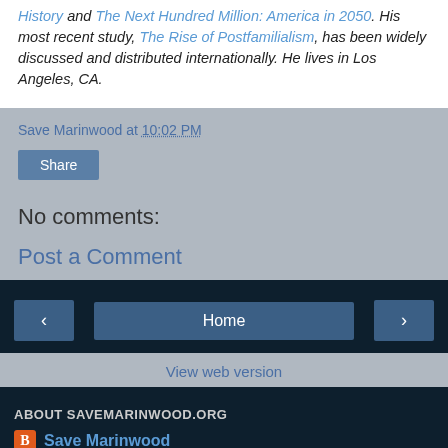History and The Next Hundred Million: America in 2050. His most recent study, The Rise of Postfamilialism, has been widely discussed and distributed internationally. He lives in Los Angeles, CA.
Save Marinwood at 10:02 PM
Share
No comments:
Post a Comment
< Home >
View web version
ABOUT SAVEMARINWOOD.ORG
Save Marinwood
View my complete profile